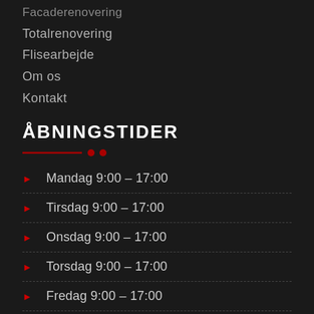Facaderenovering
Totalrenovering
Flisearbejde
Om os
Kontakt
ÅBNINGSTIDER
Mandag 9:00 – 17:00
Tirsdag 9:00 – 17:00
Onsdag 9:00 – 17:00
Torsdag 9:00 – 17:00
Fredag 9:00 – 17:00